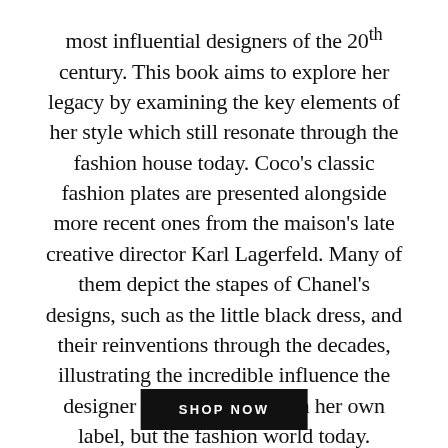most influential designers of the 20th century. This book aims to explore her legacy by examining the key elements of her style which still resonate through the fashion house today. Coco's classic fashion plates are presented alongside more recent ones from the maison's late creative director Karl Lagerfeld. Many of them depict the stapes of Chanel's designs, such as the little black dress, and their reinventions through the decades, illustrating the incredible influence the designer has had not only on her own label, but the fashion world today.
SHOP NOW